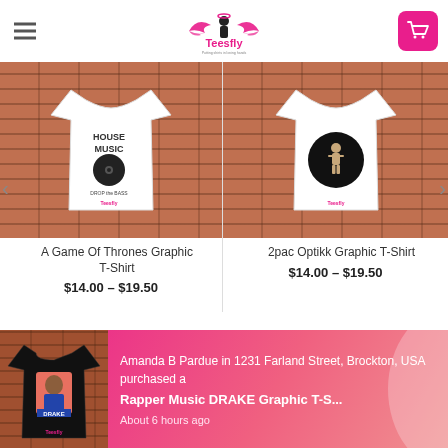Teesfly
[Figure (photo): A Game Of Thrones graphic t-shirt on brick wall background with Teesfly logo, showing House Music design with vinyl record]
A Game Of Thrones Graphic T-Shirt
$14.00 – $19.50
[Figure (photo): 2pac Optikk graphic t-shirt on brick wall background with Teesfly logo, showing circular graphic design]
2pac Optikk Graphic T-Shirt
$14.00 – $19.50
Amanda B Pardue in 1231 Farland Street, Brockton, USA purchased a
Rapper Music DRAKE Graphic T-S...
About 6 hours ago